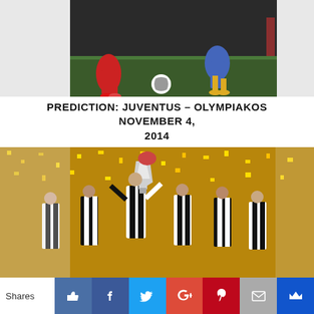[Figure (photo): Soccer/football action photo showing players from two teams (one in red, one in yellow/blue) competing for the ball during what appears to be a Champions League match]
PREDICTION: JUVENTUS – OLYMPIAKOS NOVEMBER 4, 2014
[Figure (photo): Juventus football team celebrating with a trophy, players in black and white striped jerseys lifting a silver cup amid golden confetti]
Shares [Like] [Facebook] [Twitter] [Google+] [Pinterest] [Mail] [Crown]